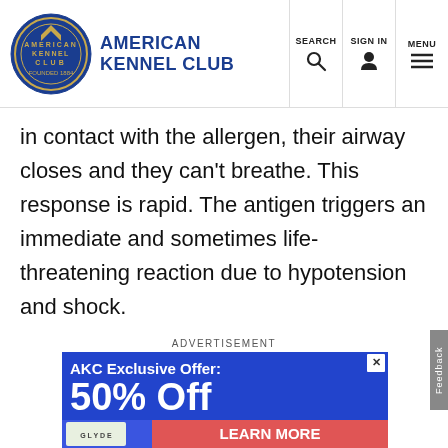American Kennel Club | SEARCH | SIGN IN | MENU
in contact with the allergen, their airway closes and they can't breathe. This response is rapid. The antigen triggers an immediate and sometimes life-threatening reaction due to hypotension and shock.
ADVERTISEMENT
[Figure (infographic): AKC advertisement banner with blue background showing 'AKC Exclusive Offer: 50% Off' with a Glyde product image and 'LEARN MORE' button in red/pink. Bottom shows 'Premium Joint' text.]